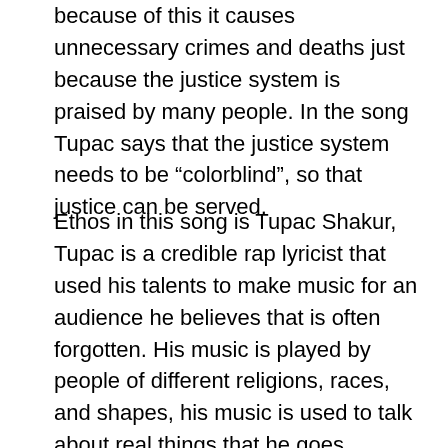because of this it causes unnecessary crimes and deaths just because the justice system is praised by many people. In the song Tupac says that the justice system needs to be “colorblind”, so that justice can be served.
Ethos in this song is Tupac Shakur, Tupac is a credible rap lyricist that used his talents to make music for an audience he believes that is often forgotten. His music is played by people of different religions, races, and shapes, his music is used to talk about real things that he goes through and real things that are going on in the world that a lot of people can relate to. In this song, it helped many people realize the racism and the struggles in the black community. Not only that, but it has also helped people realize they need to change their